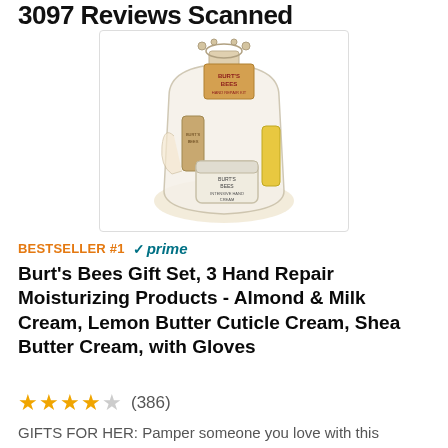3097 Reviews Scanned
[Figure (photo): Burt's Bees Gift Set product photo showing hand cream jars and gloves in a clear bag with a gift tag]
BESTSELLER #1  ✓prime
Burt's Bees Gift Set, 3 Hand Repair Moisturizing Products - Almond & Milk Cream, Lemon Butter Cuticle Cream, Shea Butter Cream, with Gloves
★★★½☆ (386)
GIFTS FOR HER: Pamper someone you love with this giftable hand spa kit including almond milk hand